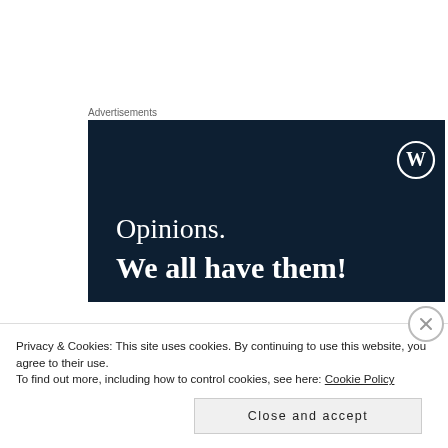Advertisements
[Figure (illustration): WordPress advertisement banner with dark navy background, WordPress logo (W in circle) top right, text 'Opinions.' in serif font and 'We all have them!' in bold serif font]
I'll be your quiet afternoon crush, be your violent overnight rush, make you crazy over my touch –
Privacy & Cookies: This site uses cookies. By continuing to use this website, you agree to their use.
To find out more, including how to control cookies, see here: Cookie Policy
Close and accept